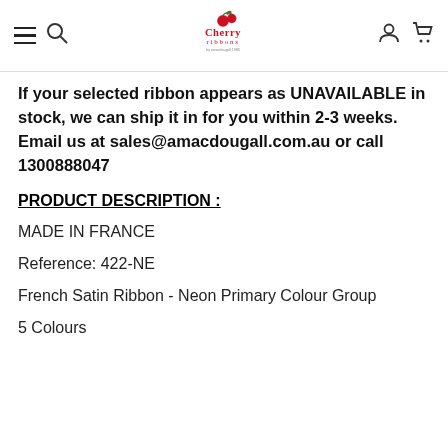Cherry Ribbons — navigation header with logo, hamburger menu, search, account, and cart icons
If your selected ribbon appears as UNAVAILABLE in stock, we can ship it in for you within 2-3 weeks. Email us at sales@amacdougall.com.au or call 1300888047
PRODUCT DESCRIPTION :
MADE IN FRANCE
Reference: 422-NE
French Satin Ribbon - Neon Primary Colour Group
5 Colours